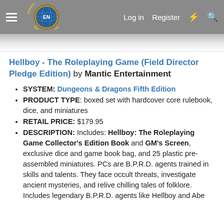Morrus' Unofficial Tabletop RPG News — Log in | Register
Hellboy - The Roleplaying Game (Field Director Pledge Edition) by Mantic Entertainment
SYSTEM: Dungeons & Dragons Fifth Edition
PRODUCT TYPE: boxed set with hardcover core rulebook, dice, and miniatures
RETAIL PRICE: $179.95
DESCRIPTION: Includes: Hellboy: The Roleplaying Game Collector's Edition Book and GM's Screen, exclusive dice and game book bag, and 25 plastic pre-assembled miniatures. PCs are B.P.R.D. agents trained in skills and talents. They face occult threats, investigate ancient mysteries, and relive chilling tales of folklore. Includes legendary B.P.R.D. agents like Hellboy and Abe